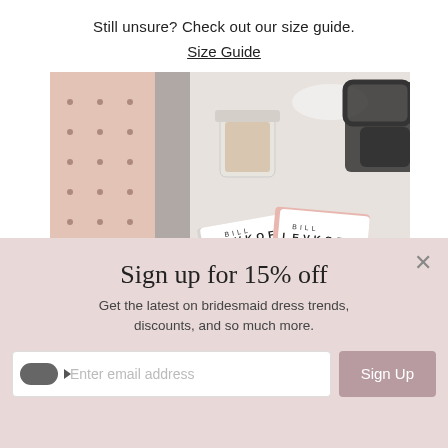Still unsure? Check out our size guide.
Size Guide
[Figure (photo): Flat lay photo of Bill Levkoff fabric swatches in blush pink and grey, alongside a polka-dot notebook, glasses, a small glass jar with gold flakes, and a gold pen on a white surface.]
Sign up for 15% off
Get the latest on bridesmaid dress trends, discounts, and so much more.
Enter email address
Sign Up